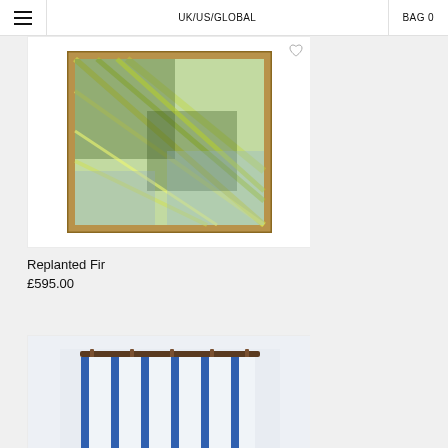☰  UK/US/GLOBAL  BAG 0
[Figure (photo): Framed artwork showing a digital/abstract image of overlapping green plant forms and geometric diagonal lines, in a wooden frame, displayed against white background]
Replanted Fir
£595.00
[Figure (photo): Partial view of a blue and white striped textile or woven wall hanging against a light blue-grey background]